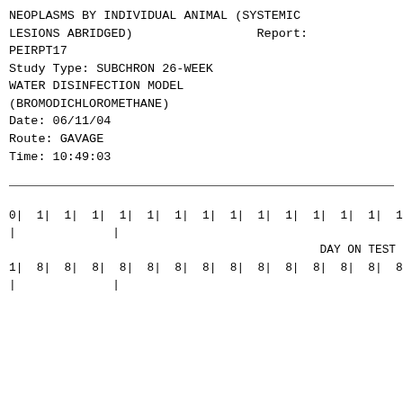NEOPLASMS BY INDIVIDUAL ANIMAL (SYSTEMIC LESIONS ABRIDGED)                    Report:
PEIRPT17
Study Type: SUBCHRON 26-WEEK
WATER DISINFECTION MODEL
(BROMODICHLOROMETHANE)
Date: 06/11/04
Route: GAVAGE
Time: 10:49:03
|  | | |
| 0|  1|  1|  1|  1|  1|  1|  1|  1|  1|  1|  1|  1|  1|  1| |
| |              | |
|  | DAY ON TEST  | |
| 1|  8|  8|  8|  8|  8|  8|  8|  8|  8|  8|  8|  8|  8|  8| |
| |              | |